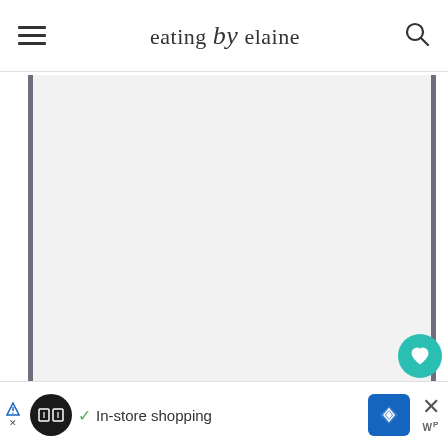eating by elaine
[Figure (screenshot): Main content area of the 'eating by elaine' food blog website. The page shows a white/light gray content area with dark vertical border bars on left and right sides. Two floating action buttons appear on the right: a teal circular heart/save button and a white circular share button. At the bottom is an advertisement banner showing an in-store shopping promotion with logo icons and a close button.]